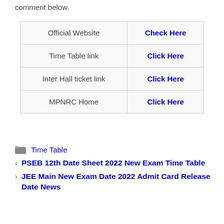comment below.
|  |  |
| --- | --- |
| Official Website | Check Here |
| Time Table link | Click Here |
| Inter Hall ticket link | Click Here |
| MPNRC Home | Click Here |
Time Table
< PSEB 12th Date Sheet 2022 New Exam Time Table
> JEE Main New Exam Date 2022 Admit Card Release Date News